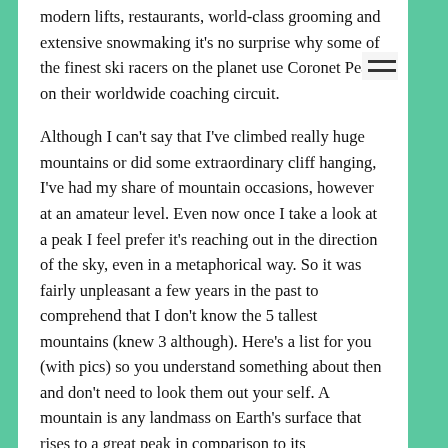modern lifts, restaurants, world-class grooming and extensive snowmaking it's no surprise why some of the finest ski racers on the planet use Coronet Peak on their worldwide coaching circuit.
Although I can't say that I've climbed really huge mountains or did some extraordinary cliff hanging, I've had my share of mountain occasions, however at an amateur level. Even now once I take a look at a peak I feel prefer it's reaching out in the direction of the sky, even in a metaphorical way. So it was fairly unpleasant a few years in the past to comprehend that I don't know the 5 tallest mountains (knew 3 although). Here's a list for you (with pics) so you understand something about then and don't need to look them out your self. A mountain is any landmass on Earth's surface that rises to a great peak in comparison to its surrounding landscape.
Small mountains (below 1,000 feet) are often called hills. When magma pushes the crust up however hardens earlier than erupting onto the floor, it types so-called dome mountains. Wind and rain pummel the domes,